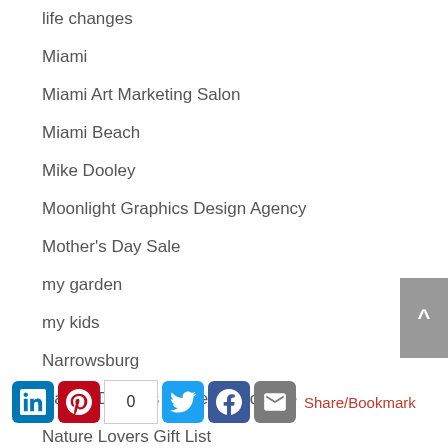life changes
Miami
Miami Art Marketing Salon
Miami Beach
Mike Dooley
Moonlight Graphics Design Agency
Mother's Day Sale
my garden
my kids
Narrowsburg
Nature Designs by Debra Cortese
Nature Lovers Gift List
nature photography
nature's energy